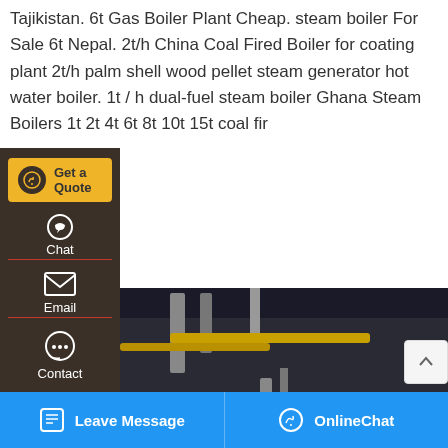Tajikistan. 6t Gas Boiler Plant Cheap. steam boiler For Sale 6t Nepal. 2t/h China Coal Fired Boiler for coating plant 2t/h palm shell wood pellet steam generator hot water boiler. 1t / h dual-fuel steam boiler Ghana Steam Boilers 1t 2t 4t 6t 8t 10t 15t coal fir
[Figure (screenshot): Sidebar with dark brown background showing: Get a Quote button (gold/yellow), Chat option with icon, Email option with envelope icon, Contact option with speech bubble icon]
[Figure (photo): Industrial steam boiler equipment photo showing large cylindrical boiler with burner/blower assembly, control panel, and industrial piping in a facility]
[Figure (screenshot): WhatsApp sticker save popup with purple-pink gradient background showing phone and smiley face icons]
Leave Message   OnlineChat